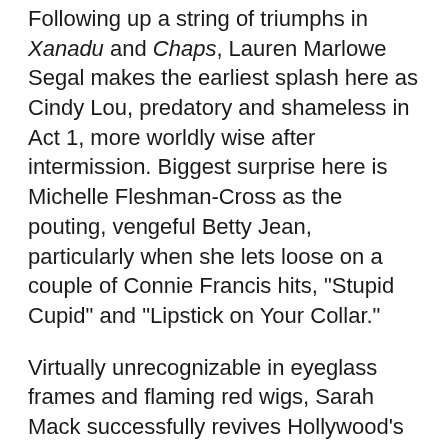Following up a string of triumphs in Xanadu and Chaps, Lauren Marlowe Segal makes the earliest splash here as Cindy Lou, predatory and shameless in Act 1, more worldly wise after intermission. Biggest surprise here is Michelle Fleshman-Cross as the pouting, vengeful Betty Jean, particularly when she lets loose on a couple of Connie Francis hits, "Stupid Cupid" and "Lipstick on Your Collar."
Virtually unrecognizable in eyeglass frames and flaming red wigs, Sarah Mack successfully revives Hollywood's secretarial clichè, tossing aside shyness and frumpiness as she comes on to Mr. Lee. As for Karen Christensen's stint as Suzy, it all pays off handsomely when she turns the ignition on Aretha Franklin's "Respect." That spontaneous combustion nicely summed it all up: For two hours, all four Wonderettes marvelously socked it to me.